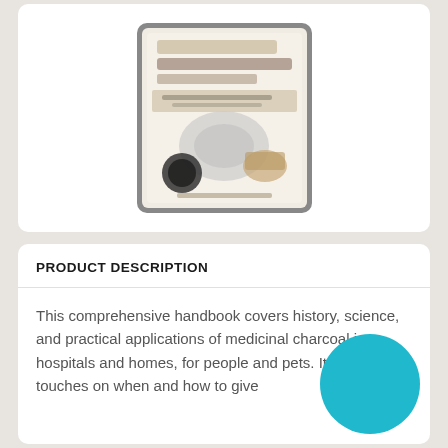[Figure (photo): Blurred book cover displayed on a tablet or as a standalone book, showing a title about medicinal charcoal, with a blurred cover image featuring bowls and natural elements. The image is centered in a white card.]
PRODUCT DESCRIPTION
This comprehensive handbook covers history, science, and practical applications of medicinal charcoal in hospitals and homes, for people and pets. It also touches on when and how to give